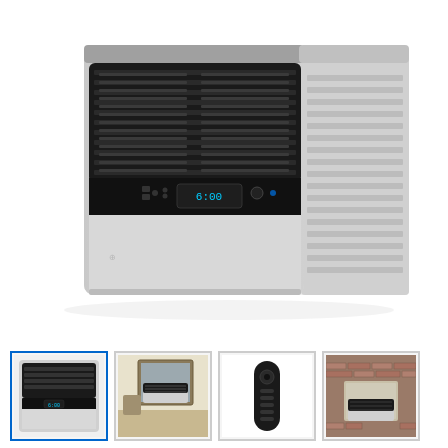[Figure (photo): Main product photo of a Friedrich window air conditioner unit shown from a three-quarter front-left angle. The unit is white/light gray with a black front grille panel and a digital control display. The right side shows white louvered vents.]
[Figure (photo): Thumbnail 1: Close-up of the air conditioner front panel with control display visible.]
[Figure (photo): Thumbnail 2: Air conditioner installed in a window of a room with furniture visible.]
[Figure (photo): Thumbnail 3: Remote control for the air conditioner, black elongated remote.]
[Figure (photo): Thumbnail 4: Air conditioner installed in a window from exterior brick building view.]